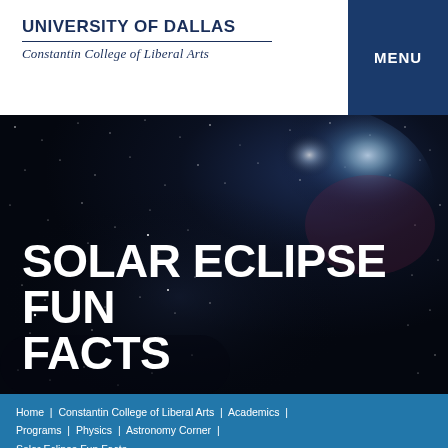UNIVERSITY OF DALLAS
Constantin College of Liberal Arts
SOLAR ECLIPSE FUN FACTS
Home | Constantin College of Liberal Arts | Academics | Programs | Physics | Astronomy Corner | Solar Eclipse Fun Facts
EXPLORE THIS SECTION
[Figure (photo): Dark night sky with stars and a bright nebula or galaxy in the upper right portion, serving as hero background image]